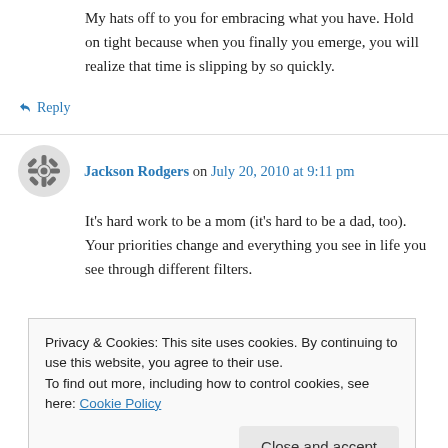My hats off to you for embracing what you have. Hold on tight because when you finally you emerge, you will realize that time is slipping by so quickly.
↳ Reply
Jackson Rodgers on July 20, 2010 at 9:11 pm
It's hard work to be a mom (it's hard to be a dad, too). Your priorities change and everything you see in life you see through different filters.
Privacy & Cookies: This site uses cookies. By continuing to use this website, you agree to their use.
To find out more, including how to control cookies, see here: Cookie Policy
Close and accept